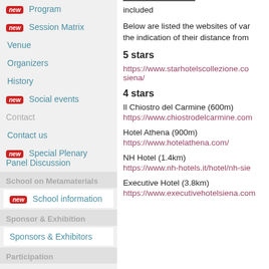new Program
new Session Matrix
Venue
Organizers
History
new Social events
Contact us
new Special Plenary Panel Discussion
School on Metamaterials
new School information
Sponsor & Exhibition
Sponsors & Exhibitors
Participation
included
Below are listed the websites of var the indication of their distance from
5 stars
https://www.starhotelscollezione.co siena/
4 stars
Il Chiostro del Carmine (600m)
https://www.chiostrodelcarmine.com
Hotel Athena (900m)
https://www.hotelathena.com/
NH Hotel (1.4km)
https://www.nh-hotels.it/hotel/nh-sie
Executive Hotel (3.8km)
https://www.executivehotelsiena.com